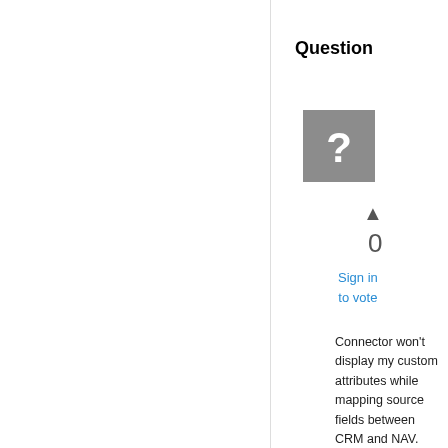Question
[Figure (illustration): Grey square icon with a white question mark]
0
Sign in to vote
Connector won't display my custom attributes while mapping source fields between CRM and NAV.

I've created a a custom field (string) to Account in CRM 2011. I also created a custom attribute (text) to Customer Card in NAV. Then I restarted NAV Server service and CRM's services (2 x asynchronous services).

After that, I try to create a new map in Connector. But, I can't see my newly created custom field in Connector. Why is that? What should I do to make this